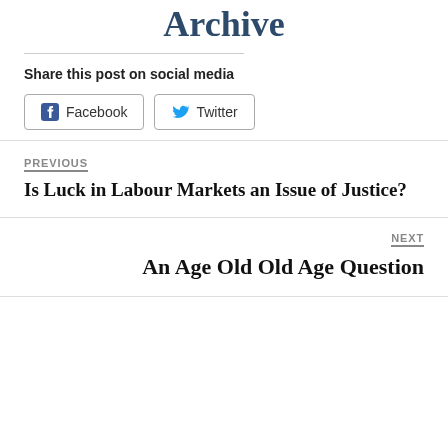Archive
Share this post on social media
[Figure (other): Facebook and Twitter social share buttons]
PREVIOUS
Is Luck in Labour Markets an Issue of Justice?
NEXT
An Age Old Old Age Question